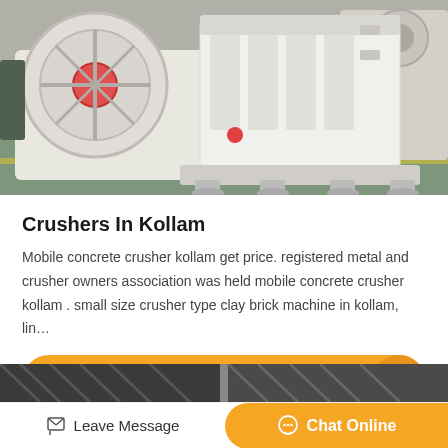[Figure (photo): Industrial jaw crusher machine in white and red color, photographed in a factory/warehouse setting with green floor visible in background]
Crushers In Kollam
Mobile concrete crusher kollam get price. registered metal and crusher owners association was held mobile concrete crusher kollam . small size crusher type clay brick machine in kollam, lin…
Get Price
[Figure (photo): Partial view of another industrial machine at the bottom of the page]
Leave Message
Chat Online